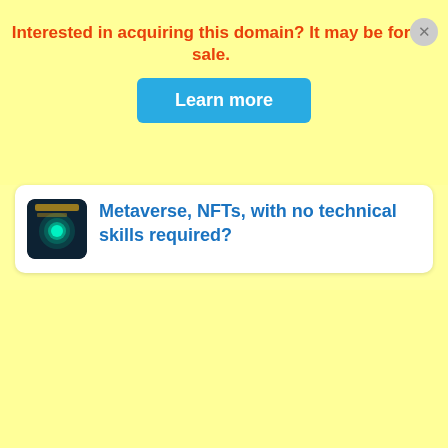Interested in acquiring this domain? It may be for sale.
Learn more
[Figure (screenshot): A card with a crypto-themed thumbnail image on the left and blue link text on the right reading 'Metaverse, NFTs, with no technical skills required?']
Metaverse, NFTs, with no technical skills required?